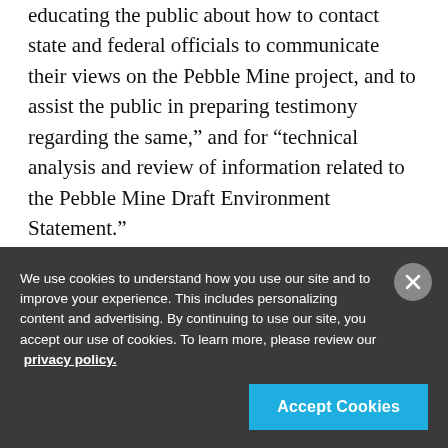educating the public about how to contact state and federal officials to communicate their views on the Pebble Mine project, and to assist the public in preparing testimony regarding the same," and for "technical analysis and review of information related to the Pebble Mine Draft Environment Statement."
“I don’t want my permit tax dollars to do anything other than promote wild salmon, period.” Nielson
We use cookies to understand how you use our site and to improve your experience. This includes personalizing content and advertising. By continuing to use our site, you accept our use of cookies. To learn more, please review our privacy policy.